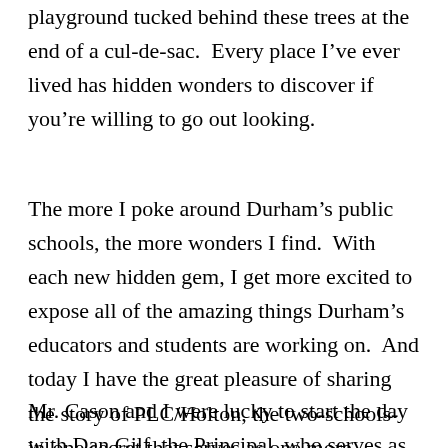playground tucked behind these trees at the end of a cul-de-sac.  Every place I've ever lived has hidden wonders to discover if you're willing to go out looking.
The more I poke around Durham's public schools, the more wonders I find.  With each new hidden gem, I get more excited to expose all of the amazing things Durham's educators and students are working on.  And today I have the great pleasure of sharing the story of PLC/Holton, the two-schools-in-one secret that serves as one more argument against the inflexibility of democratically-controlled public school systems.
Mr. Cason and I were lucky to start the day with Dan Gilf... the Principal, who serves as PLC/Holton's...